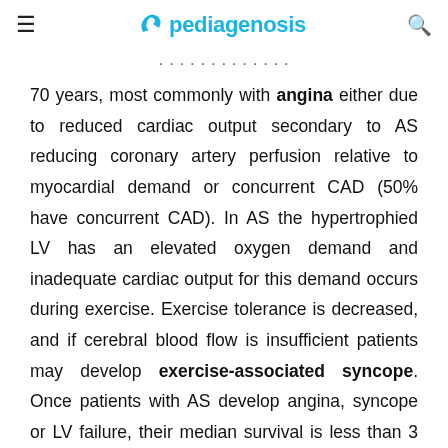pediagenosis
70 years, most commonly with angina either due to reduced cardiac output secondary to AS reducing coronary artery perfusion relative to myocardial demand or concurrent CAD (50% have concurrent CAD). In AS the hypertrophied LV has an elevated oxygen demand and inadequate cardiac output for this demand occurs during exercise. Exercise tolerance is decreased, and if cerebral blood flow is insufficient patients may develop exercise-associated syncope. Once patients with AS develop angina, syncope or LV failure, their median survival is less than 3 years.